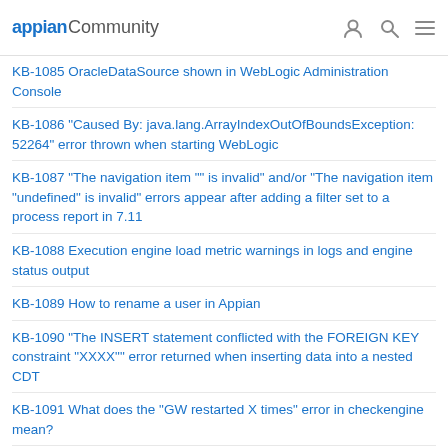appian Community
KB-1085 OracleDataSource shown in WebLogic Administration Console
KB-1086 "Caused By: java.lang.ArrayIndexOutOfBoundsException: 52264" error thrown when starting WebLogic
KB-1087 "The navigation item "" is invalid" and/or "The navigation item "undefined" is invalid" errors appear after adding a filter set to a process report in 7.11
KB-1088 Execution engine load metric warnings in logs and engine status output
KB-1089 How to rename a user in Appian
KB-1090 "The INSERT statement conflicted with the FOREIGN KEY constraint "XXXX"" error returned when inserting data into a nested CDT
KB-1091 What does the "GW restarted X times" error in checkengine mean?
KB-1093 "HTTP Error 403.14 - Forbidden" error thrown when accessing Appian with IIS as a web server
KB-1094 "Unsupported encoding: XXXXX" error thrown when starting the application server
KB-1095 "JBAS013412: Timeout after [300] seconds waiting for service container stability" error thrown during JBoss startup
KB-1096 401 error thrown when executing an embedded action in Internet Explorer